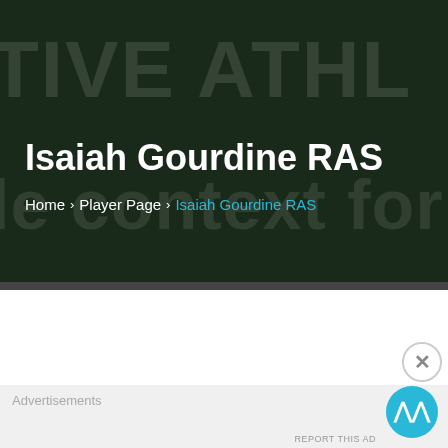[Figure (screenshot): Dark green/black background with large faded white text showing partial words 'TIVE ATHL' on top and 'le context for player' below, forming a website hero banner background]
Isaiah Gourdine RAS
Home > Player Page > Isaiah Gourdine RAS
Advertisements
[Figure (other): Scroll to top button - cyan/teal circular button with upward double chevron arrows]